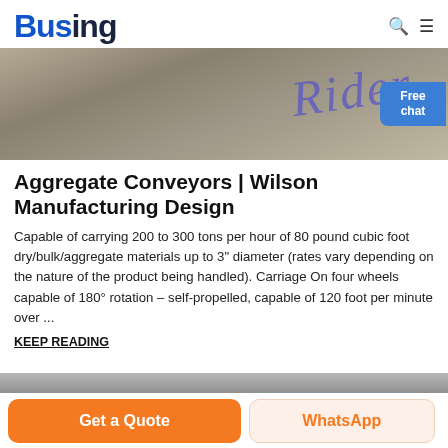Busing
[Figure (photo): Hero image showing a warehouse or industrial floor surface with a blue cursive text overlay reading 'Rider' or similar, with a dark metal element in the upper right corner.]
Aggregate Conveyors | Wilson Manufacturing Design
Capable of carrying 200 to 300 tons per hour of 80 pound cubic foot dry/bulk/aggregate materials up to 3" diameter (rates vary depending on the nature of the product being handled). Carriage On four wheels capable of 180° rotation – self-propelled, capable of 120 foot per minute over ...
KEEP READING
[Figure (photo): Bottom strip showing the top portion of the next article image.]
Get a Quote  WhatsApp